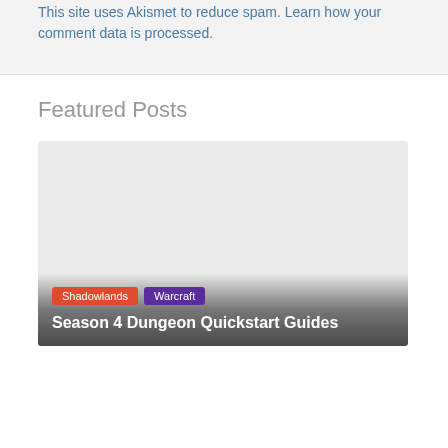This site uses Akismet to reduce spam. Learn how your comment data is processed.
Featured Posts
[Figure (screenshot): Featured post card with grey placeholder image, tags 'Shadowlands' and 'Warcraft', and title 'Season 4 Dungeon Quickstart Guides']